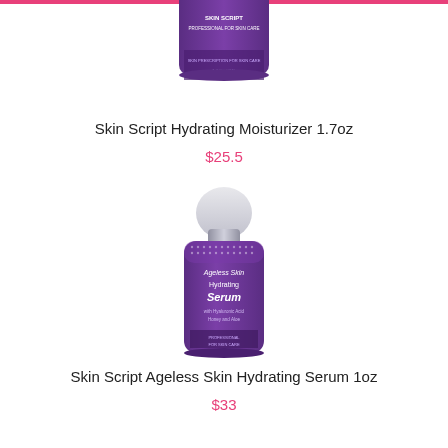[Figure (photo): Partial top view of a purple Skin Script Hydrating Moisturizer bottle, cropped at the top of the page]
Skin Script Hydrating Moisturizer 1.7oz
$25.5
[Figure (photo): Full view of a purple Skin Script Ageless Skin Hydrating Serum 1oz bottle with white cap]
Skin Script Ageless Skin Hydrating Serum 1oz
$33